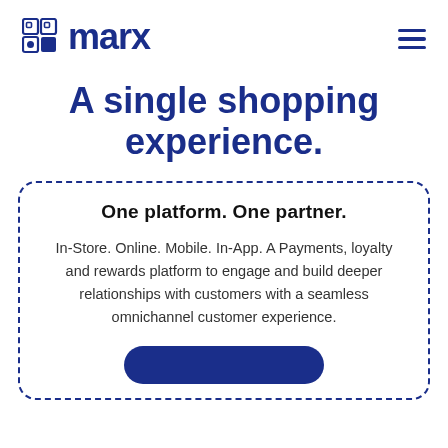[Figure (logo): Marx logo with square grid icon and bold blue text 'marx']
A single shopping experience.
One platform. One partner.
In-Store. Online. Mobile. In-App. A Payments, loyalty and rewards platform to engage and build deeper relationships with customers with a seamless omnichannel customer experience.